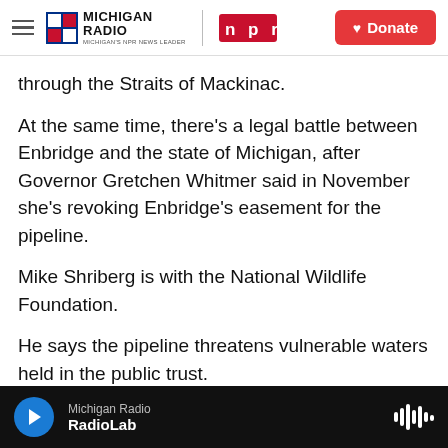Michigan Radio NPR | Donate
through the Straits of Mackinac.
At the same time, there's a legal battle between Enbridge and the state of Michigan, after Governor Gretchen Whitmer said in November she's revoking Enbridge's easement for the pipeline.
Mike Shriberg is with the National Wildlife Foundation.
He says the pipeline threatens vulnerable waters held in the public trust.
"There's very solid ground to say that Line 5 right
Michigan Radio | RadioLab